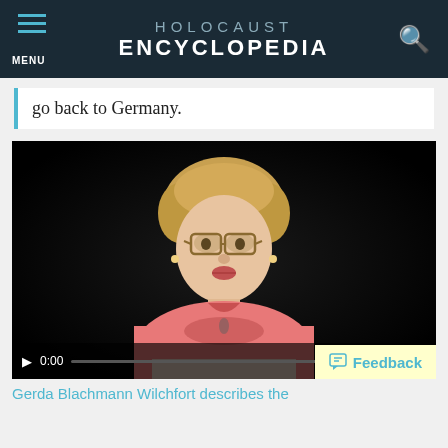HOLOCAUST ENCYCLOPEDIA
go back to Germany.
[Figure (screenshot): Video player showing an elderly woman with curly blonde hair and glasses, wearing a pink top, speaking against a dark background. Video is paused at 0:00. Controls include play button, time display (0:00), progress bar, volume, and fullscreen icons. A yellow Feedback button is overlaid at the bottom right.]
Gerda Blachmann Wilchfort describes the